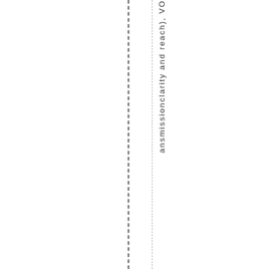ansmissionclarity and reach), VOI